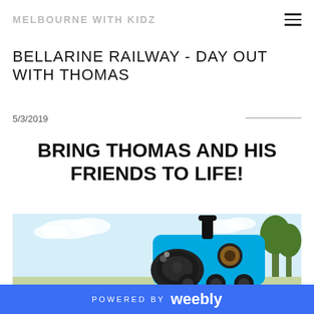MELBOURNE WITH KIDZ
BELLARINE RAILWAY - DAY OUT WITH THOMAS
5/3/2019
BRING THOMAS AND HIS FRIENDS TO LIFE!
[Figure (photo): Photo of Thomas the Tank Engine (blue train with face) in an outdoor setting with trees in background]
POWERED BY weebly